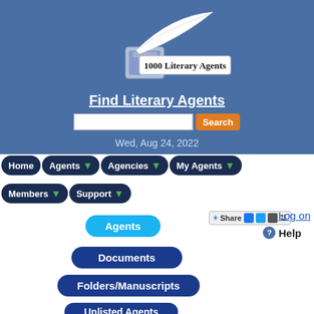[Figure (logo): 1000 Literary Agents logo with feather quill and inkwell]
Find Literary Agents
Wed, Aug 24, 2022
Home
Agents ▼
Agencies ▼
My Agents ▼
Members ▼
Support ▼
Log on
Help
Agents
Documents
Folders/Manuscripts
Unlisted Agents